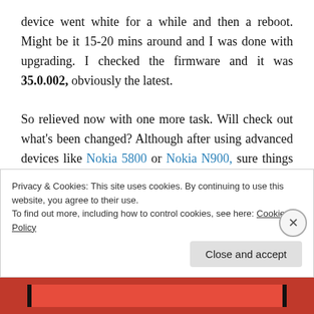device went white for a while and then a reboot. Might be it 15-20 mins around and I was done with upgrading. I checked the firmware and it was 35.0.002, obviously the latest.

So relieved now with one more task. Will check out what's been changed? Although after using advanced devices like Nokia 5800 or Nokia N900, sure things not gonna surprise me. Still what is the greatest about Nokia N82 is its great camera performance. I used it a lot when it was fine and
Privacy & Cookies: This site uses cookies. By continuing to use this website, you agree to their use.
To find out more, including how to control cookies, see here: Cookie Policy
Close and accept